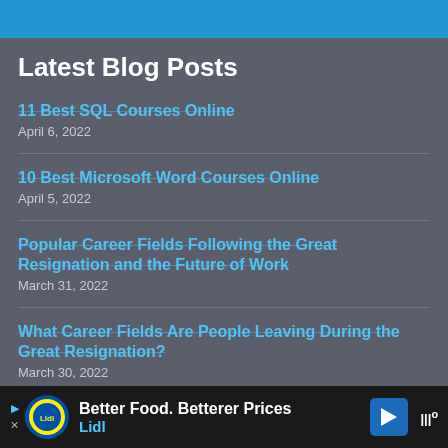Latest Blog Posts
11 Best SQL Courses Online
April 6, 2022
10 Best Microsoft Word Courses Online
April 5, 2022
Popular Career Fields Following the Great Resignation and the Future of Work
March 31, 2022
What Career Fields Are People Leaving During the Great Resignation?
March 30, 2022
The Great Resignation Statistics: What it is, Why its
[Figure (other): Advertisement banner for Lidl: Better Food. Betterer Prices]